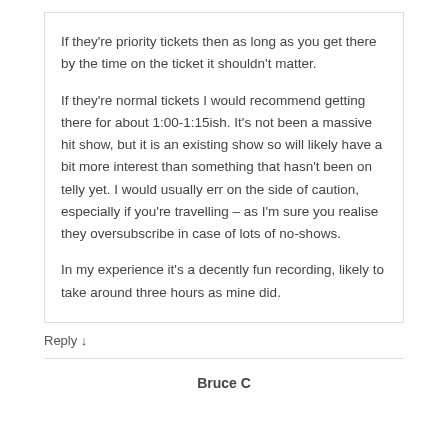If they're priority tickets then as long as you get there by the time on the ticket it shouldn't matter.
If they're normal tickets I would recommend getting there for about 1:00-1:15ish. It's not been a massive hit show, but it is an existing show so will likely have a bit more interest than something that hasn't been on telly yet. I would usually err on the side of caution, especially if you're travelling – as I'm sure you realise they oversubscribe in case of lots of no-shows.
In my experience it's a decently fun recording, likely to take around three hours as mine did.
Reply ↓
Bruce C